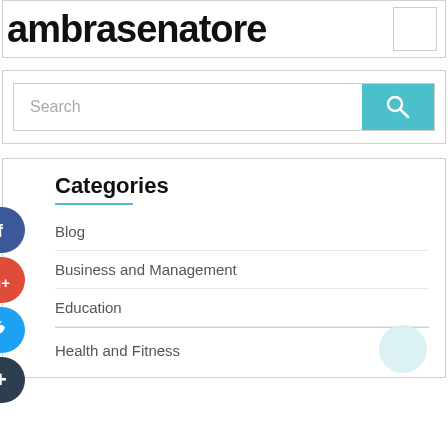ambrasenatore
[Figure (screenshot): Search bar with teal search button and magnifying glass icon]
Categories
Blog
Business and Management
Education
Health and Fitness